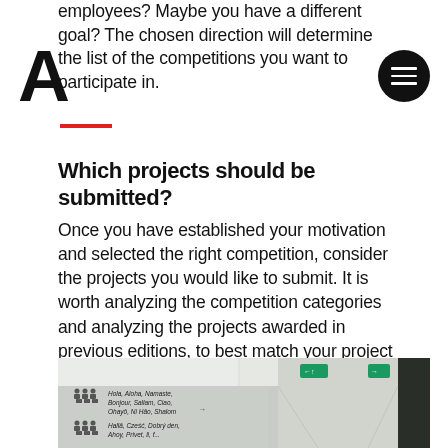employees? Maybe you have a different goal? The chosen direction will determine the list of the competitions you want to participate in.
Which projects should be submitted?
Once you have established your motivation and selected the right competition, consider the projects you would like to submit. It is worth analyzing the competition categories and analyzing the projects awarded in previous editions, to best match your project to the given requirements. Based on that, you will get an idea of the most welcome design.
[Figure (photo): Interior corridor photo with multilingual greeting signage on a wall. Signs read 'Hola, Aloha, Namaste, Bonjour, Sallam, Ciao, Ohayo, Ni Hao, Shalom' and 'Halla, Cześć, Dobrý den, Ahoy, Privet...' with people icons above each sign. Green exit signs visible on ceiling.]